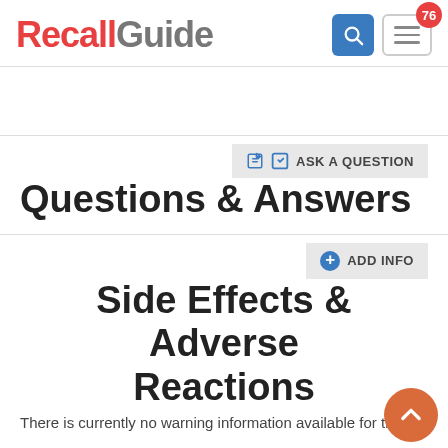[Figure (logo): RecallGuide logo with search and menu icons, notification badge showing 76]
Questions & Answers
Side Effects & Adverse Reactions
There is currently no warning information available for th...